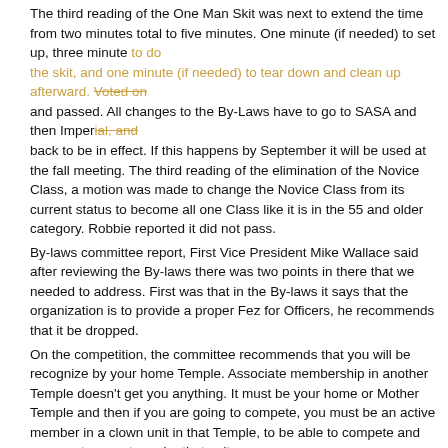The third reading of the One Man Skit was next to extend the time from two minutes total to five minutes. One minute (if needed) to set up, three minute to do the skit, and one minute (if needed) to tear down and clean up afterward. Voted on and passed. All changes to the By-Laws have to go to SASA and then Imperial, and back to be in effect. If this happens by September it will be used at the fall meeting. The third reading of the elimination of the Novice Class, a motion was made to change the Novice Class from its current status to become all one Class like it is in the 55 and older category. Robbie reported it did not pass.
By-laws committee report, First Vice President Mike Wallace said after reviewing the By-laws there was two points in there that we needed to address. First was that in the By-laws it says that the organization is to provide a proper Fez for Officers, he recommends that it be dropped.
On the competition, the committee recommends that you will be recognize by your home Temple. Associate membership in another Temple doesn't get you anything. It must be your home or Mother Temple and then if you are going to compete, you must be an active member in a clown unit in that Temple, to be able to compete and you must compete under that unit name.
These are the changes we are recommending and the adding of the competition changes to the new By-laws. We will submit to Imperial.
President Bobby J. Fisher called for a discussion on the changes before voting on the committee's recommendations. These will be read again in March at our Mid-Winters meeting and voted on in the following September fall meeting. If passed it will be sent on to Imperial for their approval.
President Bobby thanked the committee.
New Business:
Secretary/Treasurer said we paid for 125 meals and we had at the time of the meeting 60 tickets left. A discussion followed that we need to sell all the tickets we